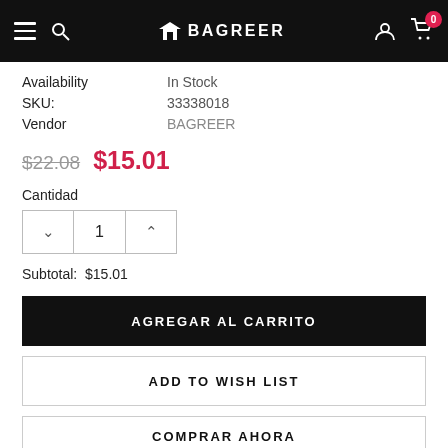BAGREER
Availability: In Stock
SKU: 33338018
Vendor: BAGREER
$22.08  $15.01
Cantidad
1
Subtotal: $15.01
AGREGAR AL CARRITO
ADD TO WISH LIST
COMPRAR AHORA